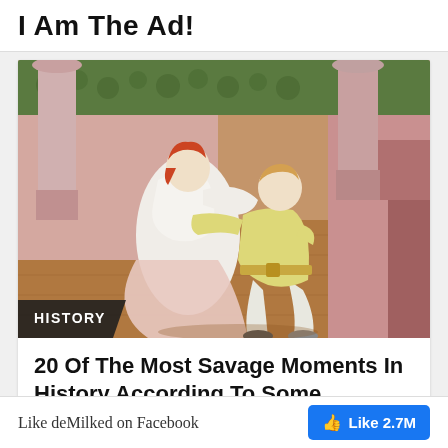I Am The Ad!
[Figure (illustration): Medieval manuscript illumination showing two figures embracing — a woman in white/pink dress and a man in yellow tunic, set against a pink stone architectural background with green decorative elements. A black badge in the lower left reads 'HISTORY'.]
20 Of The Most Savage Moments In History According To Some
Like deMilked on Facebook
Like 2.7M